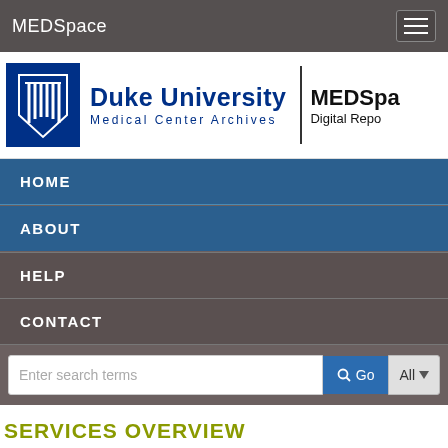MEDSpace
[Figure (logo): Duke University Medical Center Archives logo with shield and MEDSpace Digital Repository text]
HOME
ABOUT
HELP
CONTACT
SERVICES OVERVIEW
Medical Center Archives works with offices, donors, and researchers in order